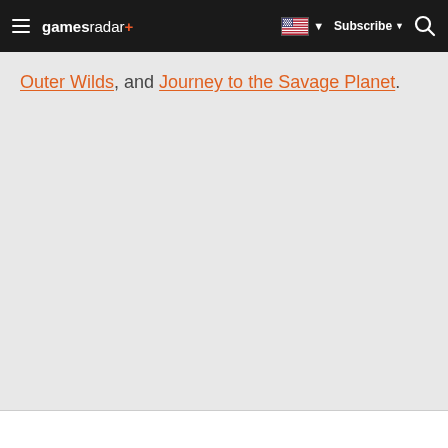GamesRadar+ | Subscribe | Search
Outer Wilds, and Journey to the Savage Planet.